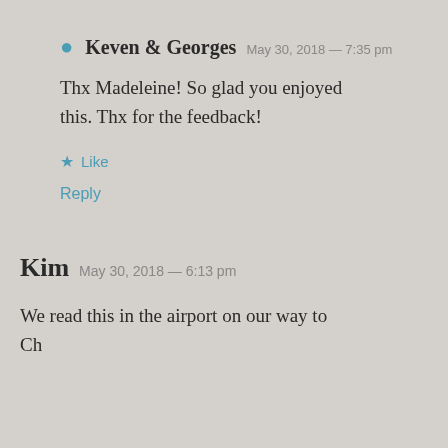Keven & Georges  May 30, 2018 — 7:35 pm
Thx Madeleine! So glad you enjoyed this. Thx for the feedback!
★ Like
Reply
Kim  May 30, 2018 — 6:13 pm
We read this in the airport on our way to